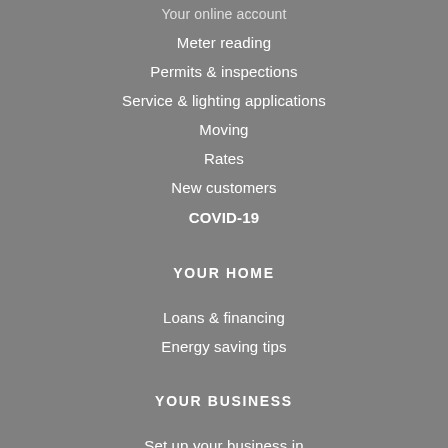Your online account
Meter reading
Permits & inspections
Service & lighting applications
Moving
Rates
New customers
COVID-19
YOUR HOME
Loans & financing
Energy saving tips
YOUR BUSINESS
Set up your business in Manitoba
Energy benchmarking &